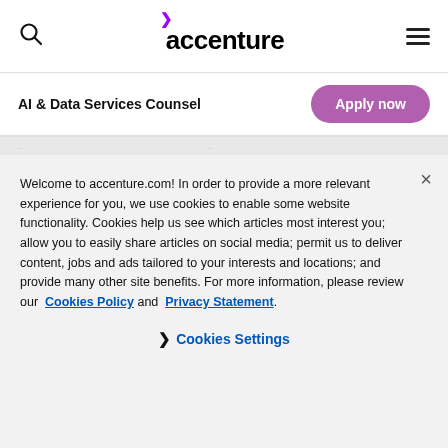accenture
AI & Data Services Counsel
Apply now
Welcome to accenture.com! In order to provide a more relevant experience for you, we use cookies to enable some website functionality. Cookies help us see which articles most interest you; allow you to easily share articles on social media; permit us to deliver content, jobs and ads tailored to your interests and locations; and provide many other site benefits. For more information, please review our Cookies Policy and Privacy Statement.
Cookies Settings